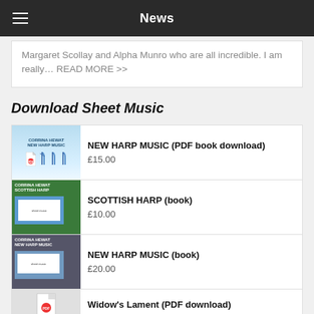News
Margaret Scollay and Alpha Munro who are all incredible. I am really… READ MORE >>
Download Sheet Music
[Figure (other): Book cover for NEW HARP MUSIC PDF download - Corrina Hewat]
NEW HARP MUSIC (PDF book download)
£15.00
[Figure (other): Book cover for SCOTTISH HARP - Corrina Hewat]
SCOTTISH HARP (book)
£10.00
[Figure (other): Book cover for NEW HARP MUSIC book - Corrina Hewat]
NEW HARP MUSIC (book)
£20.00
[Figure (other): Book cover for Widow's Lament PDF download]
Widow's Lament (PDF download)